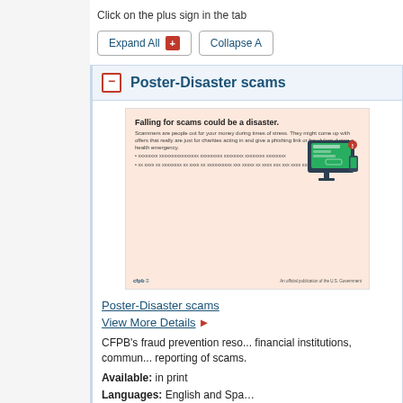Click on the plus sign in the tab
Expand All  Collapse All
Poster-Disaster scams
[Figure (illustration): Preview thumbnail of CFPB disaster scams poster showing 'Falling for scams could be a disaster' title with computer monitor graphic]
Poster-Disaster scams
View More Details
CFPB's fraud prevention reso... financial institutions, commun... reporting of scams.
Available: in print
Languages: English and Spa...
Cost: Free
Poster-Disaster scams (
[Figure (illustration): Preview thumbnail of CFPB disaster scams poster in Spanish showing 'Caer en una estafa podría ser un desastre' with computer monitor graphic]